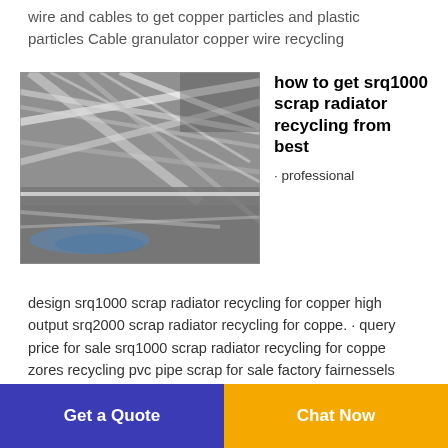wire and cables to get copper particles and plastic particles Cable granulator copper wire recycling
[Figure (photo): Close-up photo of copper wires and cables, showing metallic strands and plastic coating, black and white tones with a hint of blue at the bottom]
how to get srq1000 scrap radiator recycling from best
· professional design srq1000 scrap radiator recycling for copper high output srq2000 scrap radiator recycling for coppe. · query price for sale srq1000 scrap radiator recycling for coppe zores recycling pvc pipe scrap for sale factory fairnessels waste circuit board recycling for copper and plastic how to